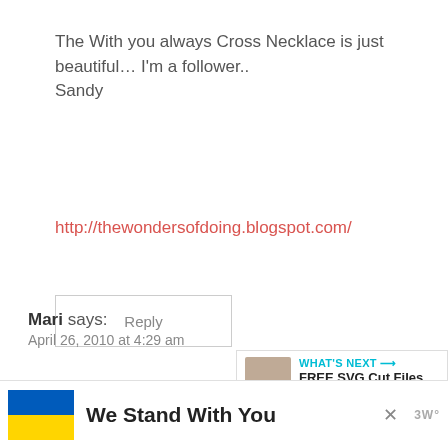The With you always Cross Necklace is just beautiful… I'm a follower..
Sandy
http://thewondersofdoing.blogspot.com/
Reply
Mari says:
April 26, 2010 at 4:29 am
I'm a new follower! Thank You!
[Figure (infographic): We Stand With You ad banner with Ukrainian flag colors (blue and yellow) and the text 'We Stand With You']